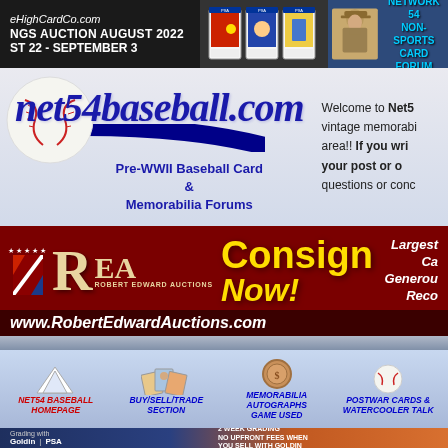[Figure (screenshot): Top navigation banner with dark background showing eHighCardCo.com, Kings Auction August 2022, August 22 - September 3, graded card images, and Network 54 Non-Sports Card Forum]
[Figure (logo): net54baseball.com logo with baseball and blue swoosh, Pre-WWII Baseball Card & Memorabilia Forums tagline, partial welcome text on right]
[Figure (screenshot): REA Robert Edward Auctions banner - Consign Now! www.RobertEdwardAuctions.com, Largest Ca... Generou... Reco...]
[Figure (screenshot): Navigation bar with NET54 BASEBALL HOMEPAGE, BUY/SELL/TRADE SECTION, MEMORABILIA AUTOGRAPHS GAME USED, POSTWAR CARDS & WATERCOOLER TALK]
[Figure (screenshot): Goldin PSA banner - Grading with Goldin | PSA, 2 WEEK GRADING NO UPFRONT FEES WHEN YOU SELL WITH GOLDIN]